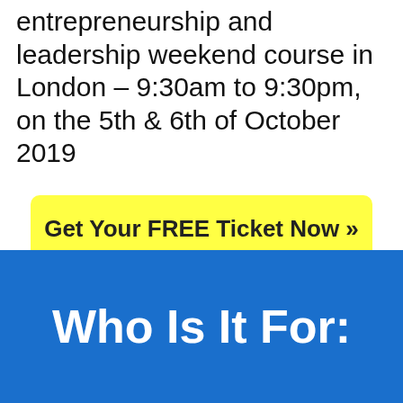entrepreneurship and leadership weekend course in London – 9:30am to 9:30pm, on the 5th & 6th of October 2019
Get Your FREE Ticket Now » »
(Limited Seats Available)
Who Is It For: